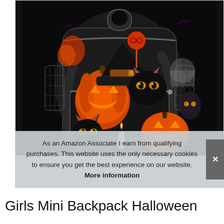[Figure (photo): A Halloween-themed mini backpack with black background featuring jack-o-lanterns, black cats, a witch hat, lollipop, candle, and other Halloween motifs. The backpack has gray zippers and mesh side pockets.]
As an Amazon Associate I earn from qualifying purchases. This website uses the only necessary cookies to ensure you get the best experience on our website. More information
Girls Mini Backpack Halloween